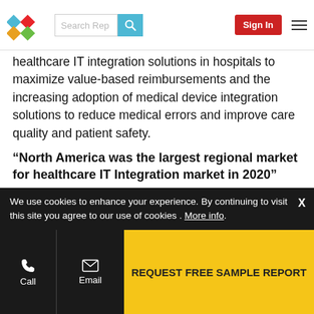Search Rep | Sign In
healthcare IT integration solutions in hospitals to maximize value-based reimbursements and the increasing adoption of medical device integration solutions to reduce medical errors and improve care quality and patient safety.
“North America was the largest regional market for healthcare IT Integration market in 2020”
The healthcare IT integration market is segmented into five major regions, namely, North America, Europe, Asia Pacific (APAC), Latin America, and the Middle East & Africa. In 2020, North America accounted for the largest share (57.2%) of the healthcare IT integration market, followed
We use cookies to enhance your experience. By continuing to visit this site you agree to our use of cookies . More info.
REQUEST FREE SAMPLE REPORT